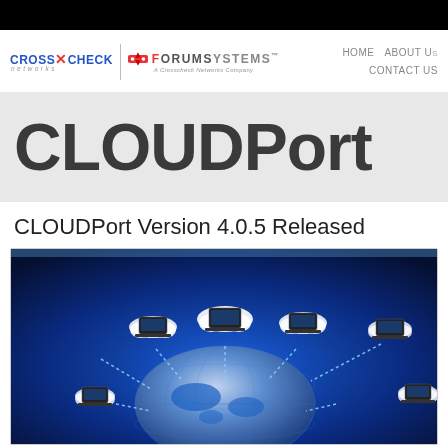CrossCheck Networks | Forum Systems - A Crosscheck Networks Company | HOME  ABOUT US  CONTACT US
CLOUDPort
CLOUDPort Version 4.0.5 Released
[Figure (illustration): Cloud networking illustration showing multiple laptops connected via dotted lines to a central globe, with cloud icons, on a blue gradient background.]